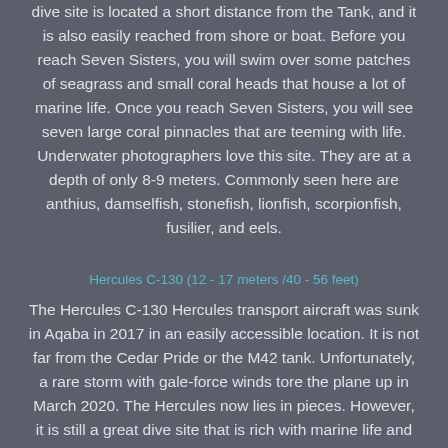dive site is located a short distance from the Tank, and it is also easily reached from shore or boat. Before you reach Seven Sisters, you will swim over some patches of seagrass and small coral heads that house a lot of marine life. Once you reach Seven Sisters, you will see seven large coral pinnacles that are teeming with life. Underwater photographers love this site. They are at a depth of only 8-9 meters. Commonly seen here are anthius, damselfish, stonefish, lionfish, scorpionfish, fusilier, and eels.
Hercules C-130 (12 - 17 meters /40 - 56 feet)
The Hercules C-130 Hercules transport aircraft was sunk in Aqaba in 2017 in an easily accessible location. It is not far from the Cedar Pride or the M42 tank. Unfortunately, a rare storm with gale-force winds tore the plane up in March 2020. The Hercules now lies in pieces. However, it is still a great dive site that is rich with marine life and soft corals.